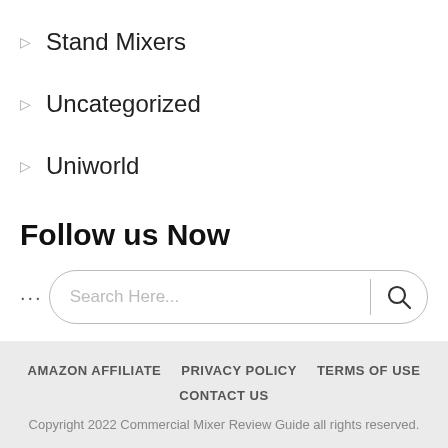Stand Mixers
Uncategorized
Uniworld
Follow us Now
Search Here...
AMAZON AFFILIATE  PRIVACY POLICY  TERMS OF USE  CONTACT US
Copyright 2022 Commercial Mixer Review Guide all rights reserved.